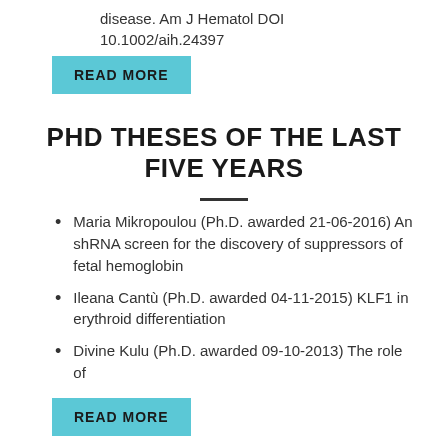disease. Am J Hematol DOI 10.1002/aih.24397
READ MORE
PHD THESES OF THE LAST FIVE YEARS
Maria Mikropoulou (Ph.D. awarded 21-06-2016) An shRNA screen for the discovery of suppressors of fetal hemoglobin
Ileana Cantù (Ph.D. awarded 04-11-2015) KLF1 in erythroid differentiation
Divine Kulu (Ph.D. awarded 09-10-2013) The role of
READ MORE
NON-SCIENTIFIC PUBLICATIONS